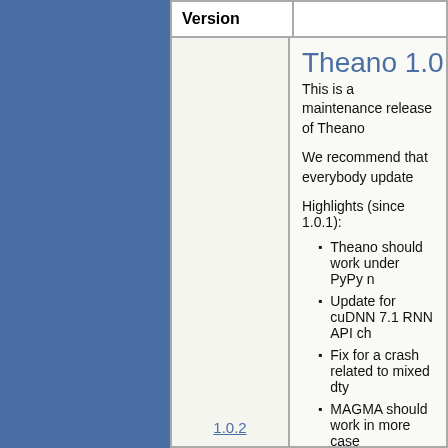| Version |  |
| --- | --- |
| 1.0.2 | Theano 1.0.2 (23r...
This is a maintenance release of Theano...
We recommend that everybody update...
Highlights (since 1.0.1):
• Theano should work under PyPy n...
• Update for cuDNN 7.1 RNN API ch...
• Fix for a crash related to mixed dty...
• MAGMA should work in more case...
• Handle reductions with non-default...
• Improvements to the test suite so th...
A total of 6 people contributed to this re...
• Frederic Bastien
• Steven Bocco
• Jon Haygood
• Arnaud Bergeron
• Jordan Melendez |